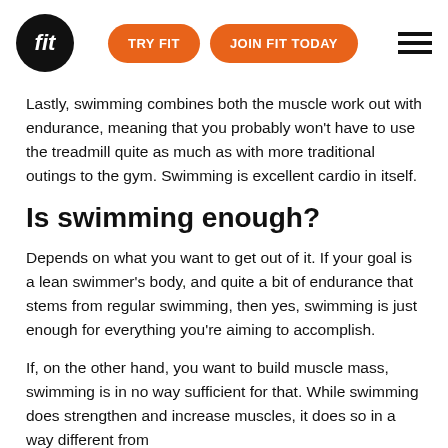fit | TRY FIT | JOIN FIT TODAY
Lastly, swimming combines both the muscle work out with endurance, meaning that you probably won't have to use the treadmill quite as much as with more traditional outings to the gym. Swimming is excellent cardio in itself.
Is swimming enough?
Depends on what you want to get out of it. If your goal is a lean swimmer's body, and quite a bit of endurance that stems from regular swimming, then yes, swimming is just enough for everything you're aiming to accomplish.
If, on the other hand, you want to build muscle mass, swimming is in no way sufficient for that. While swimming does strengthen and increase muscles, it does so in a way different from